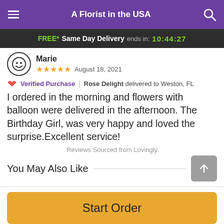A Florist in the USA
FREE* Same Day Delivery ends in: 10:44:27
Marie
★★★★★  August 18, 2021
🤍 Verified Purchase | Rose Delight delivered to Weston, FL
I ordered in the morning and flowers with balloon were delivered in the afternoon. The Birthday Girl, was very happy and loved the surprise.Excellent service!
Reviews Sourced from Lovingly
You May Also Like
Start Order